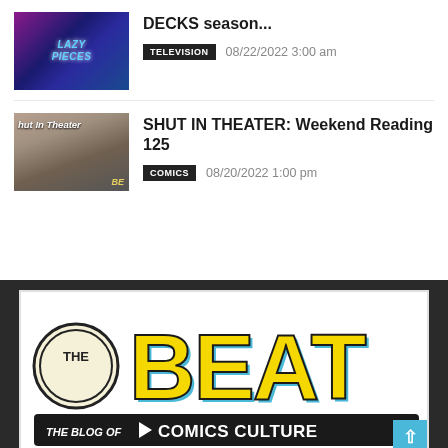[Figure (photo): Thumbnail image for a TV show article about DECKS season, dark purple/blue toned image with text overlay]
DECKS season...
TELEVISION   08/22/2022 3:00 am
[Figure (photo): Thumbnail image labeled 'Shut In Theater' showing a person reading comics on a couch]
SHUT IN THEATER: Weekend Reading 125
COMICS   08/20/2022 1:00 pm
[Figure (logo): The Beat logo - THE BEAT in large yellow block letters with blue shadow, THE BLOG OF COMICS CULTURE in black below, circular THE badge on left, on white background]